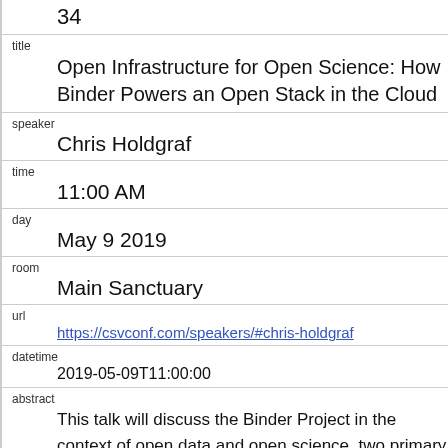34
| title | Open Infrastructure for Open Science: How Binder Powers an Open Stack in the Cloud |
| speaker | Chris Holdgraf |
| time | 11:00 AM |
| day | May 9 2019 |
| room | Main Sanctuary |
| url | https://csvconf.com/speakers/#chris-holdgraf |
| datetime | 2019-05-09T11:00:00 |
| abstract | This talk will discuss the Binder Project in the context of open data and open science, two primary use-cases that have driven the project. It will cover |